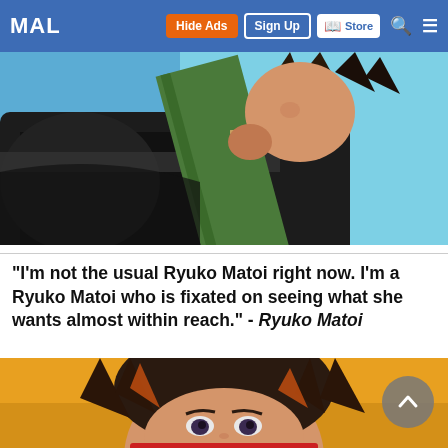MAL | Hide Ads | Sign Up | Store | Search | Menu
[Figure (illustration): Anime screenshot showing a dark-clothed character holding a large sword or weapon, with teal/blue background. Character appears to have spiky hair and is smoking.]
“I’m not the usual Ryuko Matoi right now. I’m a Ryuko Matoi who is fixated on seeing what she wants almost within reach.” - Ryuko Matoi
[Figure (illustration): Anime screenshot of Ryuko Matoi character with dark hair and orange highlights, looking upward with an intense expression, orange/warm background.]